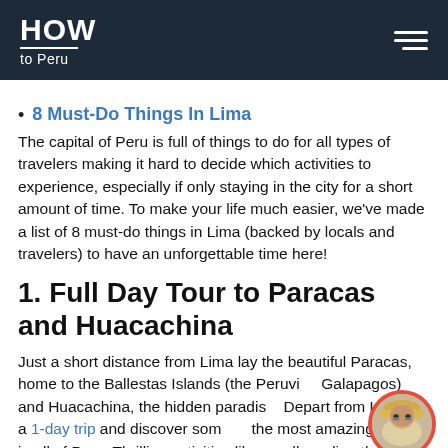HOW to Peru
8 Must-Do Things In Lima
The capital of Peru is full of things to do for all types of travelers making it hard to decide which activities to experience, especially if only staying in the city for a short amount of time. To make your life much easier, we've made a list of 8 must-do things in Lima (backed by locals and travelers) to have an unforgettable time here!
1. Full Day Tour to Paracas and Huacachina
Just a short distance from Lima lay the beautiful Paracas, home to the Ballestas Islands (the Peruvian Galapagos) and Huacachina, the hidden paradise. Depart from Lima on a 1-day trip and discover some of the most amazing places in all of Peru. Thrilling activities like sandboarding the biggest sand dunes in South